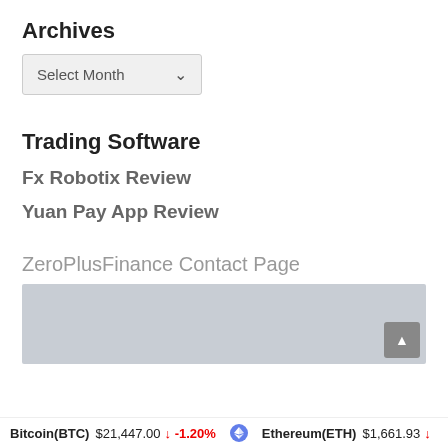Archives
[Figure (screenshot): Dropdown selector showing 'Select Month' with a chevron arrow, styled with a light gray background]
Trading Software
Fx Robotix Review
Yuan Pay App Review
ZeroPlusFinance Contact Page
[Figure (photo): A light blue-gray textured background image representing the ZeroPlusFinance Contact Page, with a gray scroll-to-top button in the lower right corner]
Bitcoin(BTC) $21,447.00 ↓ -1.20%   Ethereum(ETH) $1,661.93 ↓